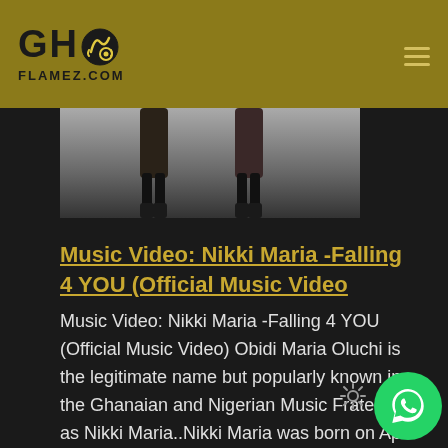GHO FLAMEZ.COM
[Figure (photo): Two people standing, lower body visible, wearing dark clothing and boots, gray background]
Music Video: Nikki Maria -Falling 4 YOU (Official Music Video
Music Video: Nikki Maria -Falling 4 YOU (Official Music Video) Obidi Maria Oluchi is the legitimate name but popularly known in the Ghanaian and Nigerian Music Fraternity as Nikki Maria..Nikki Maria was born on April 27th,1997 to Mr and Mrs Sunday Chioma Obidi in Nigeria.Nikki Maria was born and bred in Anambra State in Nigeria.Nikki Maria...